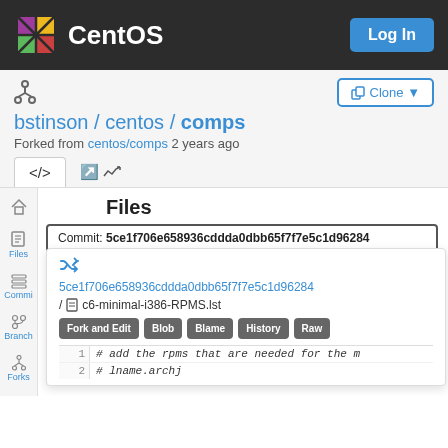CentOS  Log In
bstinson / centos / comps
Forked from centos/comps 2 years ago
Files
Commit: 5ce1f706e658936cddda0dbb65f7f7e5c1d96284
5ce1f706e658936cddda0dbb65f7f7e5c1d96284
/ c6-minimal-i386-RPMS.lst
Fork and Edit  Blob  Blame  History  Raw
1  # add the rpms that are needed for the m
2  # lname.archj